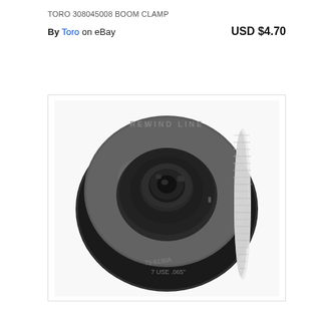TORO 308045008 BOOM CLAMP
By Toro  on eBay                        USD $4.70
[Figure (photo): A Toro trimmer spool/head assembly shown in dark gray/black plastic with white trimmer line wound around it. The spool reads 'REWIND LINE' on the top face and '73-8190A' and 'USE .065"' on the bottom. The central hub has a circular cap mechanism.]